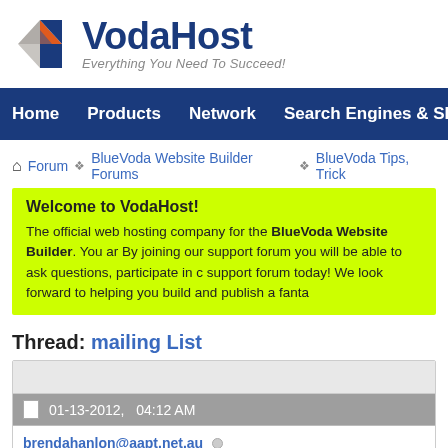[Figure (logo): VodaHost logo with geometric diamond shape in blue, gray, and orange, with text 'VodaHost' in dark blue bold and tagline 'Everything You Need To Succeed!' in gray italic]
Home  Products  Network  Search Engines & SEO
Forum  BlueVoda Website Builder Forums  BlueVoda Tips, Trick
Welcome to VodaHost!
The official web hosting company for the BlueVoda Website Builder. You ar By joining our support forum you will be able to ask questions, participate in c support forum today! We look forward to helping you build and publish a fanta
Thread: mailing List
01-13-2012,   04:12 AM
brendahanlon@aapt.net.au
Corporal